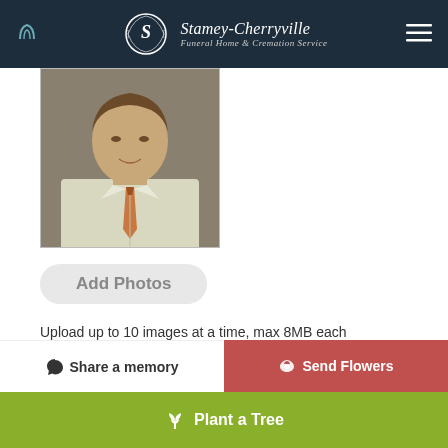[Figure (logo): Stamey-Cherryville Funeral Home & Cremation Service logo with decorative emblem on dark navy header]
[Figure (photo): Portrait photo of a man in a white/light dress shirt and tie, upper body visible, cropped at shoulders]
Add Photos
Upload up to 10 images at a time, max 8MB each
Family Login
Subscribe to Updates
Share a memory
Send Flowers
Plant a Tree